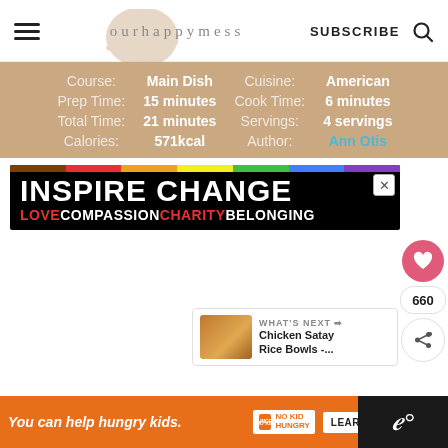ourhappymess | SUBSCRIBE
| Label | Value | Label | Value |
| --- | --- | --- | --- |
| Course: | Main Dish | Cuisine: | American |
| Prep Time: | 15 minutes | Cook Time: | 6 minutes |
| Total Time: | 21 minutes | Servings: | 4 servings |
| Calories: | 571kcal | Author: | Ann Otis |
[Figure (screenshot): INSPIRE CHANGE advertisement banner with rainbow bar, black background, red/white text: LOVE COMPASSION CHARITY BELONGING]
[Figure (screenshot): Social sharing sidebar with heart button (660 saves) and share button]
[Figure (screenshot): What's Next card: Chicken Satay Rice Bowls with thumbnail]
[Figure (screenshot): Bottom orange advertisement banner: You can help hungry kids. No Kid Hungry. LEARN HOW]